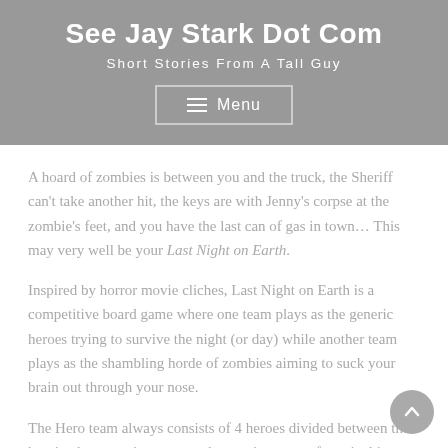See Jay Stark Dot Com
Short Stories From A Tall Guy
A hoard of zombies is between you and the truck, the Sheriff can't take another hit, the keys are with Jenny's corpse at the zombie's feet, and you have the last can of gas in town… This may very well be your Last Night on Earth.
Inspired by horror movie cliches, Last Night on Earth is a competitive board game where one team plays as the generic heroes trying to survive the night (or day) while another team plays as the shambling horde of zombies aiming to suck your brain out through your nose.
The Hero team always consists of 4 heroes divided between the heroic players trying to meet the requirements of survival in one of the five scenarios available in the base game. The included instruction book suggests that new players begin with the “Escape in the Truck” scenario to help introduce all of the basic aspects of the game. In this scenario, the hero characters need to search the buildings to find The Keys and